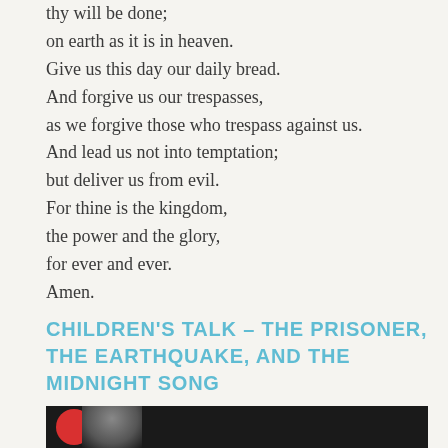thy will be done;
on earth as it is in heaven.
Give us this day our daily bread.
And forgive us our trespasses,
as we forgive those who trespass against us.
And lead us not into temptation;
but deliver us from evil.
For thine is the kingdom,
the power and the glory,
for ever and ever.
Amen.
CHILDREN'S TALK – THE PRISONER, THE EARTHQUAKE, AND THE MIDNIGHT SONG
[Figure (photo): A dark/black background photo showing a person, partially visible, with a red circular shape (logo or graphic) on the left side.]